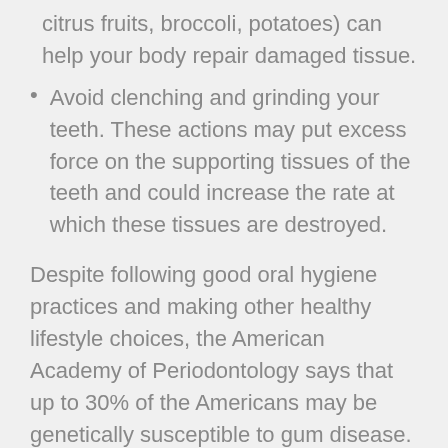citrus fruits, broccoli, potatoes) can help your body repair damaged tissue.
Avoid clenching and grinding your teeth. These actions may put excess force on the supporting tissues of the teeth and could increase the rate at which these tissues are destroyed.
Despite following good oral hygiene practices and making other healthy lifestyle choices, the American Academy of Periodontology says that up to 30% of the Americans may be genetically susceptible to gum disease. And those